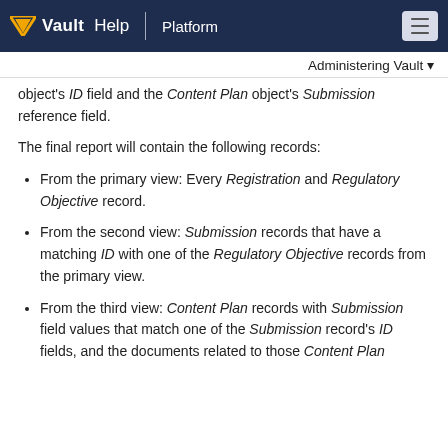Vault Help | Platform
Administering Vault
object's ID field and the Content Plan object's Submission reference field.
The final report will contain the following records:
From the primary view: Every Registration and Regulatory Objective record.
From the second view: Submission records that have a matching ID with one of the Regulatory Objective records from the primary view.
From the third view: Content Plan records with Submission field values that match one of the Submission record's ID fields, and the documents related to those Content Plan